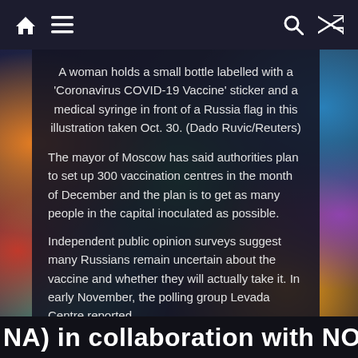Navigation bar with home, menu, search, and shuffle icons
A woman holds a small bottle labelled with a 'Coronavirus COVID-19 Vaccine' sticker and a medical syringe in front of a Russia flag in this illustration taken Oct. 30. (Dado Ruvic/Reuters)
The mayor of Moscow has said authorities plan to set up 300 vaccination centres in the month of December and the plan is to get as many people in the capital inoculated as possible.
Independent public opinion surveys suggest many Russians remain uncertain about the vaccine and whether they will actually take it. In early November, the polling group Levada Centre reported
NA) in collaboration with NOW